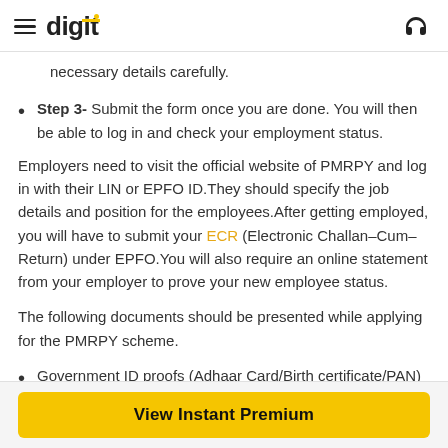digit
necessary details carefully.
Step 3- Submit the form once you are done. You will then be able to log in and check your employment status.
Employers need to visit the official website of PMRPY and log in with their LIN or EPFO ID.They should specify the job details and position for the employees.After getting employed, you will have to submit your ECR (Electronic Challan–Cum–Return) under EPFO.You will also require an online statement from your employer to prove your new employee status.
The following documents should be presented while applying for the PMRPY scheme.
Government ID proofs (Adhaar Card/Birth certificate/PAN)
View Instant Premium